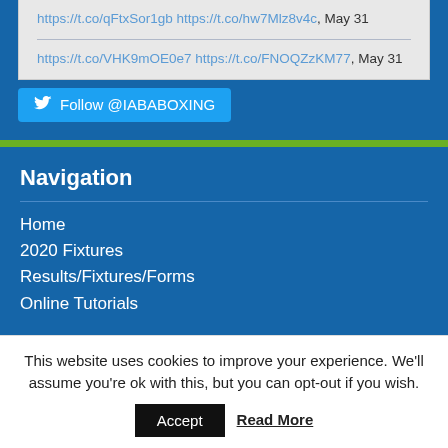https://t.co/qFtxSor1gb https://t.co/hw7Mlz8v4c, May 31
https://t.co/VHK9mOE0e7 https://t.co/FNOQZzKM77, May 31
Follow @IABABOXING
Navigation
Home
2020 Fixtures
Results/Fixtures/Forms
Online Tutorials
This website uses cookies to improve your experience. We'll assume you're ok with this, but you can opt-out if you wish.
Accept
Read More